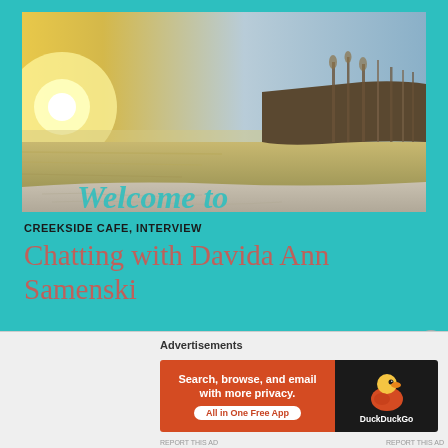[Figure (photo): Scenic waterway/marsh landscape at sunset or sunrise with golden light on the left, calm water, reeds on the right. A partial 'Welcome to' text overlay appears in cyan at the bottom of the image.]
CREEKSIDE CAFE, INTERVIEW
Chatting with Davida Ann Samenski
Welcome back to Creekside Café. There's been a lot going on lately. Our town hosts an annual Fossil Festival and I was one of the old fossils hanging
Advertisements
[Figure (screenshot): DuckDuckGo advertisement banner: orange left section with text 'Search, browse, and email with more privacy. All in One Free App', black right section with DuckDuckGo duck logo.]